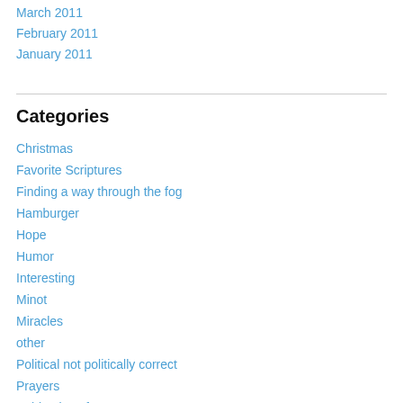March 2011
February 2011
January 2011
Categories
Christmas
Favorite Scriptures
Finding a way through the fog
Hamburger
Hope
Humor
Interesting
Minot
Miracles
other
Political not politically correct
Prayers
Spiritual warfare